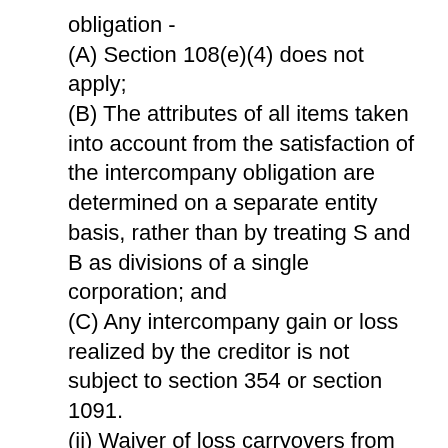obligation - (A) Section 108(e)(4) does not apply; (B) The attributes of all items taken into account from the satisfaction of the intercompany obligation are determined on a separate entity basis, rather than by treating S and B as divisions of a single corporation; and (C) Any intercompany gain or loss realized by the creditor is not subject to section 354 or section 1091. (ii) Waiver of loss carryovers from separate return limitation years. Solely for purposes of § 1.1502-32(b)(4) and the effect of any election under that